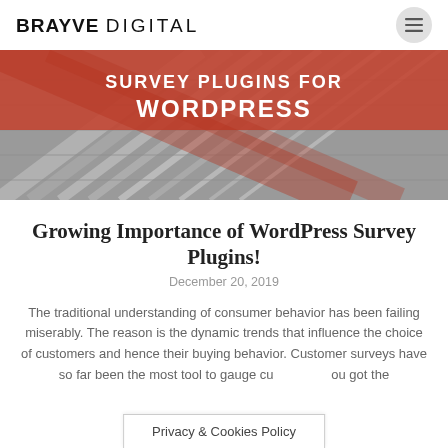BRAYVE DIGITAL
[Figure (photo): Hero image showing a modern glass building from a low angle, with a red/orange overlay in the upper portion containing text: SURVEY PLUGINS FOR WORDPRESS]
Growing Importance of WordPress Survey Plugins!
December 20, 2019
The traditional understanding of consumer behavior has been failing miserably. The reason is the dynamic trends that influence the choice of customers and hence their buying behavior. Customer surveys have so far been the most tool to gauge cu                ou got the
Privacy & Cookies Policy